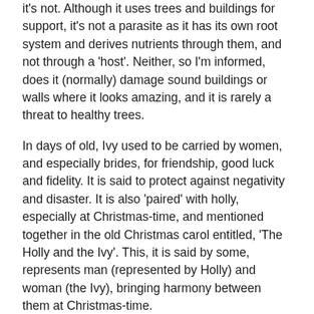it's not. Although it uses trees and buildings for support, it's not a parasite as it has its own root system and derives nutrients through them, and not through a 'host'. Neither, so I'm informed, does it (normally) damage sound buildings or walls where it looks amazing, and it is rarely a threat to healthy trees.
In days of old, Ivy used to be carried by women, and especially brides, for friendship, good luck and fidelity. It is said to protect against negativity and disaster. It is also 'paired' with holly, especially at Christmas-time, and mentioned together in the old Christmas carol entitled, 'The Holly and the Ivy'. This, it is said by some, represents man (represented by Holly) and woman (the Ivy), bringing harmony between them at Christmas-time.
Going back further into English history, English taverns